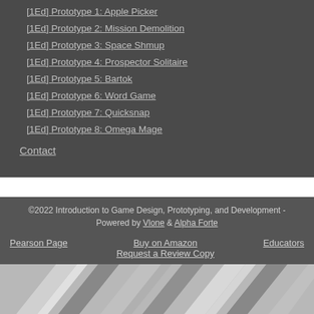[1Ed] Prototype 1: Apple Picker
[1Ed] Prototype 2: Mission Demolition
[1Ed] Prototype 3: Space Shmup
[1Ed] Prototype 4: Prospector Solitaire
[1Ed] Prototype 5: Bartok
[1Ed] Prototype 6: Word Game
[1Ed] Prototype 7: Quicksnap
[1Ed] Prototype 8: Omega Mage
Contact
©2022 Introduction to Game Design, Prototyping, and Development - Powered by Vlone & Alpha Forte
Pearson Page   Buy on Amazon   Educators
Request a Review Copy
[Figure (illustration): Decorative bottom graphic showing grey and white diagonal arrow-like shapes]